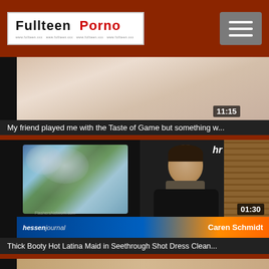Fullteen Porno
[Figure (screenshot): Video thumbnail showing blurred bedroom scene with duration 11:15]
My friend played me with the Taste of Game but something w...
[Figure (screenshot): Video thumbnail showing news anchor Caren Schmidt on hessenjournal TV broadcast with weather map, duration 01:30]
Thick Booty Hot Latina Maid in Seethrough Shot Dress Clean...
[Figure (screenshot): Partial video thumbnail at bottom of page]